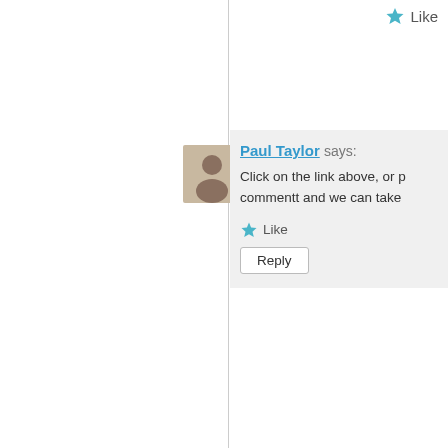Like
Paul Taylor says:
Click on the link above, or p commentt and we can take
Like
Reply
Kat says:
Hello Paul. Commenting here as I cant se wantted to thank you for your who loves hiking and /P amat rigs for some time. My latest p to figure out a low current but prowler 6B. Immediately inter I quickly became aware that t MC13125 which has possibl